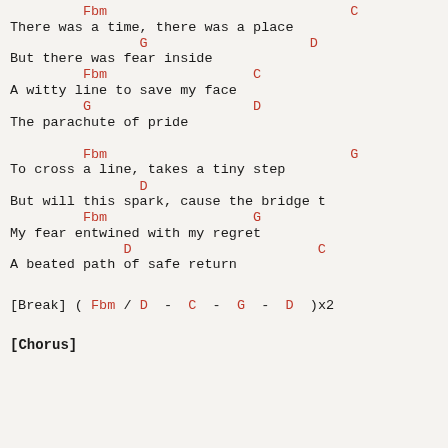Fbm                              C
There was a time, there was a place
                G                    D
But there was fear inside
         Fbm                  C
A witty line to save my face
         G                    D
The parachute of pride
Fbm                              G
To cross a line, takes a tiny step
                D
But will this spark, cause the bridge t
         Fbm                  G
My fear entwined with my regret
              D                       C
A beated path of safe return
[Break] ( Fbm / D  -  C  -  G  -  D  )x2
[Chorus]